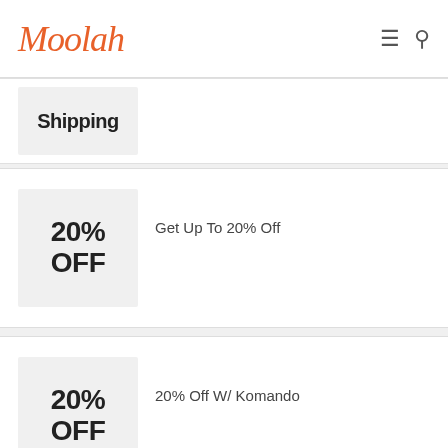Moolah
Shipping
[Figure (infographic): Coupon badge showing 20% OFF with label: Get Up To 20% Off]
Get Up To 20% Off
[Figure (infographic): Coupon badge showing 20% OFF with label: 20% Off W/ Komando]
20% Off W/ Komando